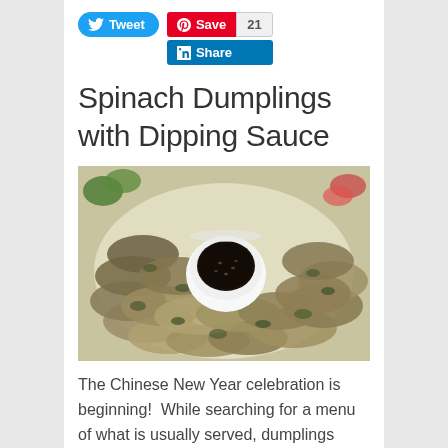[Figure (screenshot): Social sharing buttons: Tweet (Twitter), Save (Pinterest) with count 21, Share (LinkedIn)]
Spinach Dumplings with Dipping Sauce
[Figure (photo): A plate of spinach dumplings arranged in a circle around a small white cup filled with dark soy dipping sauce]
The Chinese New Year celebration is beginning!  While searching for a menu of what is usually served, dumplings